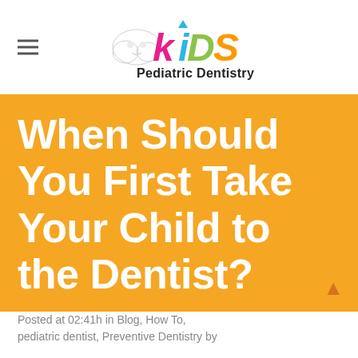[Figure (logo): Kids Pediatric Dentistry logo with colorful K-I-D-S letters and cartoon character illustration]
When Should You First Take Your Child to the Dentist?
Posted at 02:41h in Blog, How To, pediatric dentist, Preventive Dentistry by